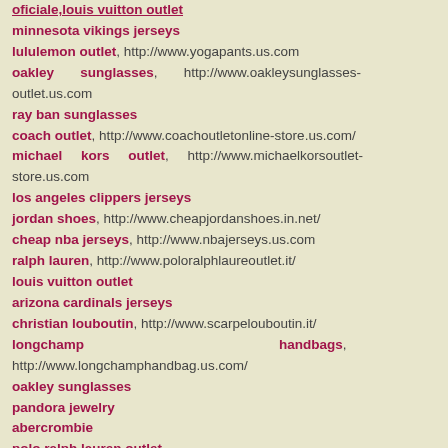oficiale,louis vuitton outlet
minnesota vikings jerseys
lululemon outlet, http://www.yogapants.us.com
oakley sunglasses, http://www.oakleysunglasses-outlet.us.com
ray ban sunglasses
coach outlet, http://www.coachoutletonline-store.us.com/
michael kors outlet, http://www.michaelkorsoutlet-store.us.com
los angeles clippers jerseys
jordan shoes, http://www.cheapjordanshoes.in.net/
cheap nba jerseys, http://www.nbajerseys.us.com
ralph lauren, http://www.poloralphlaureoutlet.it/
louis vuitton outlet
arizona cardinals jerseys
christian louboutin, http://www.scarpelouboutin.it/
longchamp handbags, http://www.longchamphandbag.us.com/
oakley sunglasses
pandora jewelry
abercrombie
polo ralph lauren outlet
pandora charms